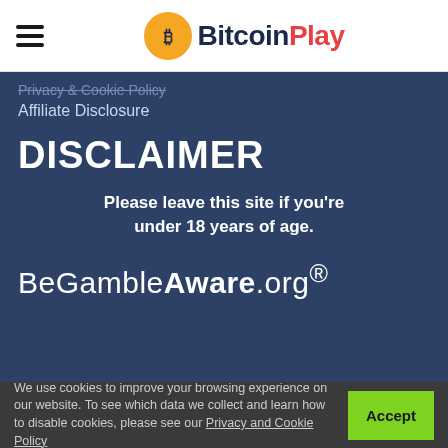BitcoinPlay
Privacy & Cookie Policy
Affiliate Disclosure
DISCLAIMER
Please leave this site if you're under 18 years of age.
[Figure (logo): BeGambleAware.org logo with registered trademark symbol]
We use cookies to improve your browsing experience on our website. To see which data we collect and learn how to disable cookies, please see our Privacy and Cookie Policy